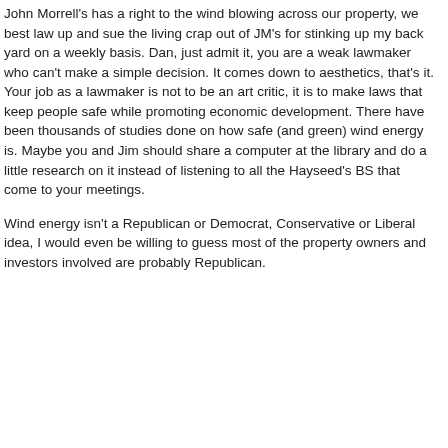John Morrell's has a right to the wind blowing across our property, we best law up and sue the living crap out of JM's for stinking up my back yard on a weekly basis. Dan, just admit it, you are a weak lawmaker who can't make a simple decision. It comes down to aesthetics, that's it. Your job as a lawmaker is not to be an art critic, it is to make laws that keep people safe while promoting economic development. There have been thousands of studies done on how safe (and green) wind energy is. Maybe you and Jim should share a computer at the library and do a little research on it instead of listening to all the Hayseed's BS that come to your meetings.
Wind energy isn't a Republican or Democrat, Conservative or Liberal idea, I would even be willing to guess most of the property owners and investors involved are probably Republican.